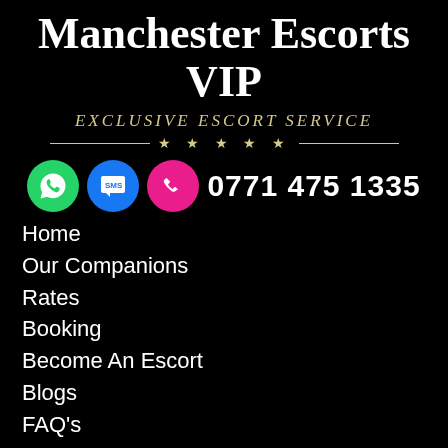Manchester Escorts VIP
EXCLUSIVE ESCORT SERVICE
[Figure (infographic): Contact icons row: WhatsApp green circle, SMS blue circle, phone pink circle, and phone number 0771 475 1335]
Home
Our Companions
Rates
Booking
Become An Escort
Blogs
FAQ's
Contact
with us which means whether you want them to play the host or the guest or just want to surprise a friend with her as a gift, she will excel in that.
These models are well educated, well mannered and speak without any nagging accent so you can take them to the highest class of the society and steal all the limelight of the party. They have been trained to carry themselves with dignity if the situation demands that and turn into perfectly loud party animals if there is such.